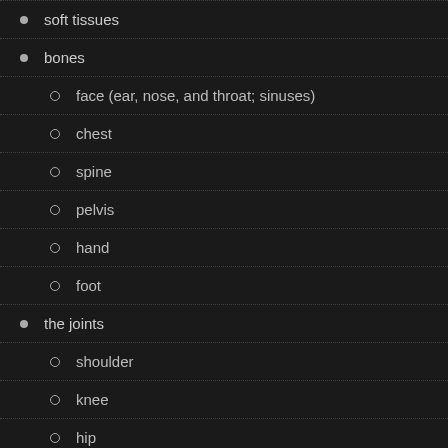soft tissues
bones
face (ear, nose, and throat; sinuses)
chest
spine
pelvis
hand
foot
the joints
shoulder
knee
hip
ankle